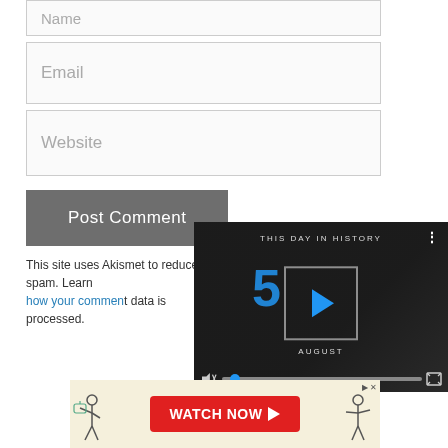Name
Email
Website
Post Comment
This site uses Akis... how your commen...
[Figure (screenshot): Video player overlay showing 'THIS DAY IN HISTORY' with a large number 5, play button, AUGUST label, mute icon, progress bar with blue dot, and fullscreen icon]
[Figure (screenshot): Advertisement banner with 'WATCH NOW' button in red with YouTube play icon, illustrated figures on sides, and close/skip controls]